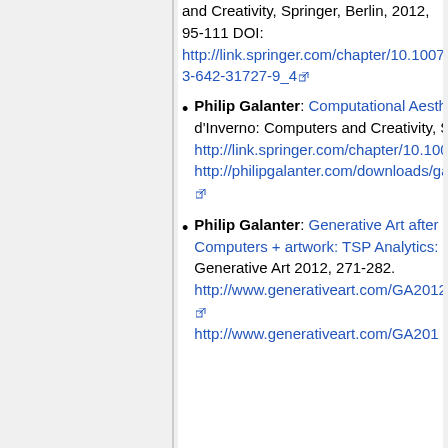and Creativity, Springer, Berlin, 2012, 95-111 DOI: http://link.springer.com/chapter/10.1007/978-3-642-31727-9_4
Philip Galanter: Computational Aesthetic Evaluation: Past and Future. In: McCormack & d'Inverno: Computers and Creativity, Springer, Berlin, 2012, 255-293 DOI: http://link.springer.com/chapter/10.1007/978-3-642-31727-9_10 http://philipgalanter.com/downloads/galanter_computational_aesthetic_evaluation_springer.pdf
Philip Galanter: Generative Art after Computers + artwork: TSP Analytics: solver. Generative Art 2012, 271-282. http://www.generativeart.com/GA2012/phil.pdf http://www.generativeart.com/GA201